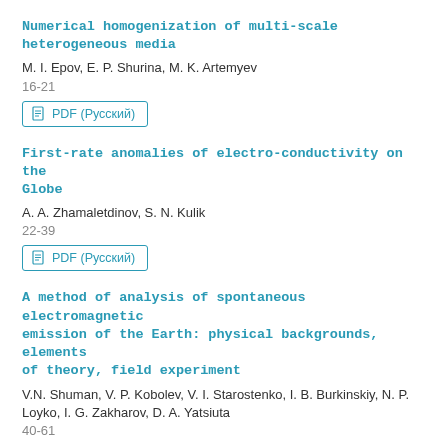Numerical homogenization of multi-scale heterogeneous media
M. I. Epov, E. P. Shurina, M. K. Artemyev
16-21
PDF (Русский)
First-rate anomalies of electro-conductivity on the Globe
A. A. Zhamaletdinov, S. N. Kulik
22-39
PDF (Русский)
A method of analysis of spontaneous electromagnetic emission of the Earth: physical backgrounds, elements of theory, field experiment
V.N. Shuman, V. P. Kobolev, V. I. Starostenko, I. B. Burkinskiy, N. P. Loyko, I. G. Zakharov, D. A. Yatsiuta
40-61